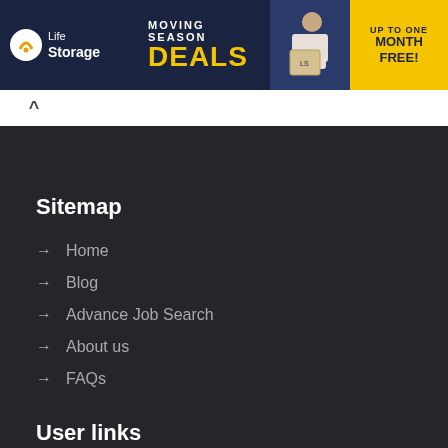[Figure (screenshot): Life Storage advertisement banner with logo on left, 'Moving Season DEALS' text in center, person holding boxes photo, and 'UP TO ONE MONTH FREE!' yellow badge on right]
^ (collapse button)
Sitemap
→ Home
→ Blog
→ Advance Job Search
→ About us
→ FAQs
User links
→ Term of Use